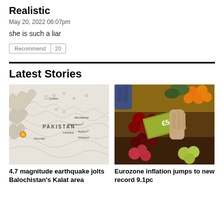Realistic
May 20, 2022 06:07pm
she is such a liar
Recommend | 20
Latest Stories
[Figure (map): Map of Pakistan showing earthquake location near Balochistan, with cities Quetta, Jacobabad, Shakarpur, Khuzdar, Larkana, Sukkur, Khairpur marked and seismic activity dots]
4.7 magnitude earthquake jolts Balochistan's Kalat area
[Figure (photo): Photo of hands exchanging a 5 Euro banknote over a market stall with tomatoes, apples, oranges and other fruits and vegetables]
Eurozone inflation jumps to new record 9.1pc